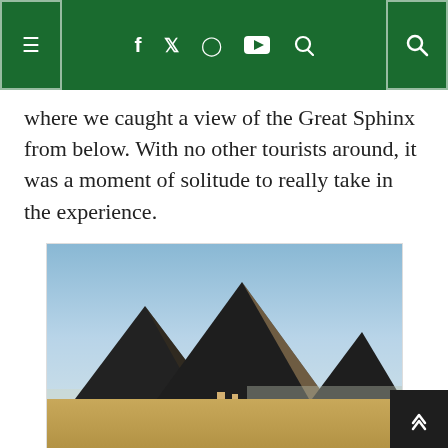Navigation bar with menu, social icons (f, twitter, instagram, youtube), and search
where we caught a view of the Great Sphinx from below. With no other tourists around, it was a moment of solitude to really take in the experience.
[Figure (photo): Photograph of the three main pyramids of Giza viewed from a northwest viewpoint. Three large pyramids silhouetted against a blue sky over sandy desert terrain.]
View of the three main pyramids from a northwest viewpoint.